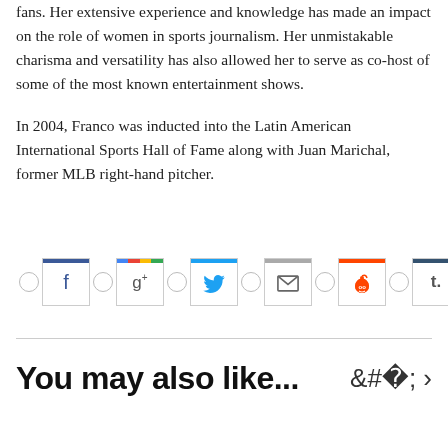fans. Her extensive experience and knowledge has made an impact on the role of women in sports journalism. Her unmistakable charisma and versatility has also allowed her to serve as co-host of some of the most known entertainment shows.

In 2004, Franco was inducted into the Latin American International Sports Hall of Fame along with Juan Marichal, former MLB right-hand pitcher.
[Figure (other): Social media share buttons row: circles and icon buttons for Facebook, Google+, Twitter, Email, Reddit, and Tumblr]
You may also like...